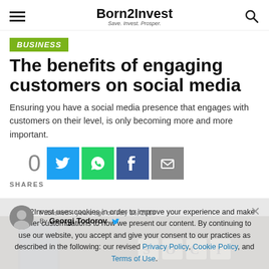Born2Invest — Save. Invest. Prosper.
BUSINESS
The benefits of engaging customers on social media
Ensuring you have a social media presence that engages with customers on their level, is only becoming more and more important.
0 SHARES
Published 4 years ago on July 16, 2018
By Georgi Todorov
Born2Invest uses cookies in order to improve your experience and make further customizations to how we present our content. By continuing to use our website, you accept and give your consent to our practices as described in the following: our revised Privacy Policy, Cookie Policy, and Terms of Use.
I consent
[Figure (photo): Dark wooden table surface with partial view of a smartphone, bokeh background with Scrabble-like tiles spelling SOCI...]